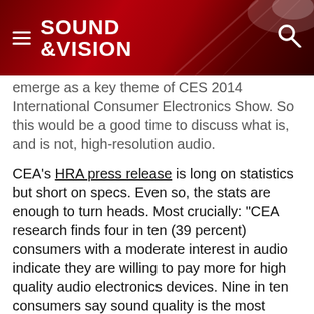SOUND &VISION
emerge as a key theme of CES 2014 International Consumer Electronics Show. So this would be a good time to discuss what is, and is not, high-resolution audio.
CEA's HRA press release is long on statistics but short on specs. Even so, the stats are enough to turn heads. Most crucially: "CEA research finds four in ten (39 percent) consumers with a moderate interest in audio indicate they are willing to pay more for high quality audio electronics devices. Nine in ten consumers say sound quality is the most important component of a quality audio experience." Consumers are primed for a high-res feast. If it consisted of rotten meat and vinegary wine, what a